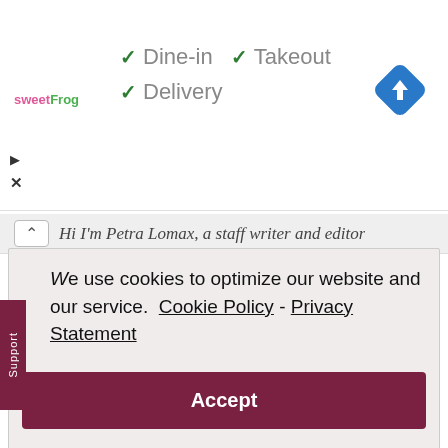[Figure (screenshot): Ad banner for sweetFrog showing checkmarks for Dine-in, Takeout, Delivery options and a blue navigation arrow icon]
Hi I'm Petra Lomax, a staff writer and editor
We use cookies to optimize our website and our service.  Cookie Policy - Privacy Statement
Accept
Management. I love travel, culture and anything that has to do with creative media and business.
View all posts by Petra →